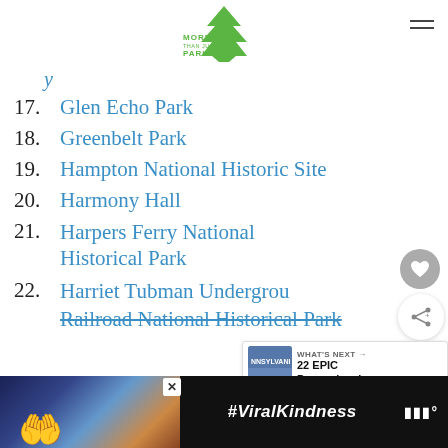[Figure (logo): More Than Just Parks logo — green arrowhead/tree icon above text]
(partial item, number cut off) — link text partially visible in blue italic
17. Glen Echo Park
18. Greenbelt Park
19. Hampton National Historic Site
20. Harmony Hall
21. Harpers Ferry National Historical Park
22. Harriet Tubman Underground Railroad National Historical Park (partially visible)
[Figure (screenshot): What's Next box showing Pennsylvania parks thumbnail and label '22 EPIC Pennsylvani...']
[Figure (photo): Advertisement bar at bottom: black background with heart-hands photo, #ViralKindness text, close X button]